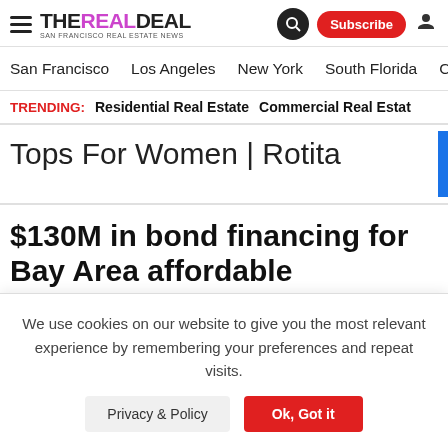THE REAL DEAL — San Francisco Real Estate News | Search | Subscribe
San Francisco | Los Angeles | New York | South Florida | Chic
TRENDING: Residential Real Estate  Commercial Real Estate
[Figure (screenshot): Ad banner showing partial text: 'Tops For Women | Rotita' with a blue bar on the right side]
$130M in bond financing for Bay Area affordable multifamily projects
We use cookies on our website to give you the most relevant experience by remembering your preferences and repeat visits.
Privacy & Policy  Ok, Got it